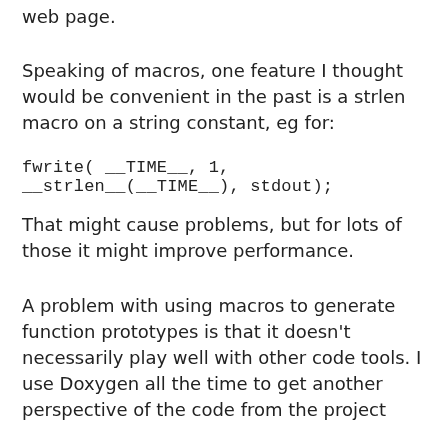web page.
Speaking of macros, one feature I thought would be convenient in the past is a strlen macro on a string constant, eg for:
fwrite( __TIME__, 1, __strlen__(__TIME__), stdout);
That might cause problems, but for lots of those it might improve performance.
A problem with using macros to generate function prototypes is that it doesn't necessarily play well with other code tools. I use Doxygen all the time to get another perspective of the code from the project